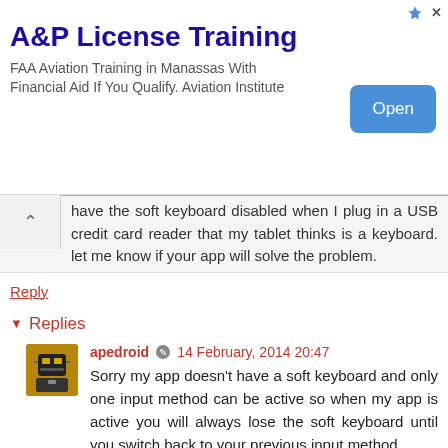[Figure (other): Advertisement banner for A&P License Training. Title: 'A&P License Training', body: 'FAA Aviation Training in Manassas With Financial Aid If You Qualify. Aviation Institute', with an Open button on the right.]
have the soft keyboard disabled when I plug in a USB credit card reader that my tablet thinks is a keyboard. let me know if your app will solve the problem.
Reply
▾ Replies
apedroid ● 14 February, 2014 20:47
Sorry my app doesn't have a soft keyboard and only one input method can be active so when my app is active you will always lose the soft keyboard until you switch back to your previous input method.
Reply